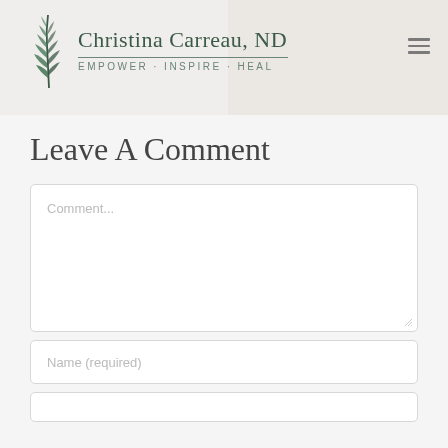[Figure (logo): Christina Carreau ND logo with fern leaf graphic, name, and tagline EMPOWER · INSPIRE · HEAL]
Leave A Comment
Comment...
Name (required)